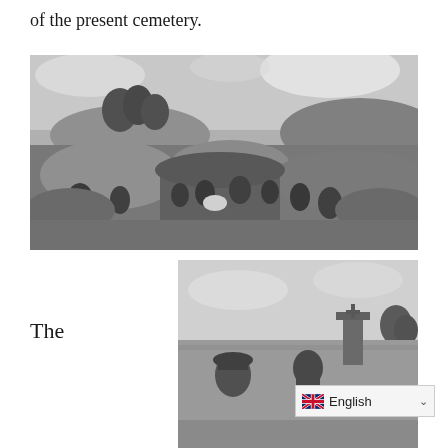of the present cemetery.
[Figure (photo): Black and white photograph showing an excavation or construction site with multiple workers/people in a trench or pit area, sandy/earthen terrain, trees visible on a hill in the background, overcast sky.]
[Figure (photo): Black and white photograph showing people standing outdoors in an open field, with what appears to be a monument or grave marker visible, trees in background.]
The
English